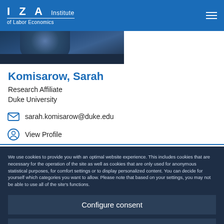IZA Institute of Labor Economics
[Figure (photo): Partial photo of a person with dark background, cropped at bottom of header area]
Komisarow, Sarah
Research Affiliate
Duke University
sarah.komisarow@duke.edu
View Profile
We use cookies to provide you with an optimal website experience. This includes cookies that are necessary for the operation of the site as well as cookies that are only used for anonymous statistical purposes, for comfort settings or to display personalized content. You can decide for yourself which categories you want to allow. Please note that based on your settings, you may not be able to use all of the site's functions.
Configure consent
Accept all